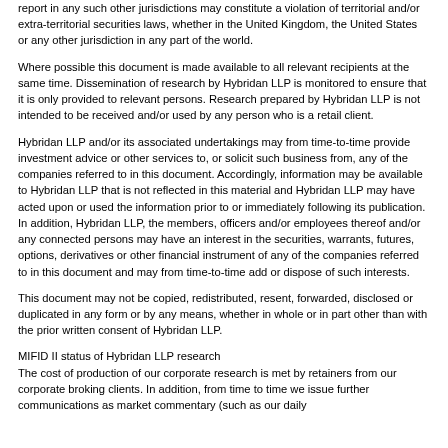report in any such other jurisdictions may constitute a violation of territorial and/or extra-territorial securities laws, whether in the United Kingdom, the United States or any other jurisdiction in any part of the world.
Where possible this document is made available to all relevant recipients at the same time. Dissemination of research by Hybridan LLP is monitored to ensure that it is only provided to relevant persons. Research prepared by Hybridan LLP is not intended to be received and/or used by any person who is a retail client.
Hybridan LLP and/or its associated undertakings may from time-to-time provide investment advice or other services to, or solicit such business from, any of the companies referred to in this document. Accordingly, information may be available to Hybridan LLP that is not reflected in this material and Hybridan LLP may have acted upon or used the information prior to or immediately following its publication. In addition, Hybridan LLP, the members, officers and/or employees thereof and/or any connected persons may have an interest in the securities, warrants, futures, options, derivatives or other financial instrument of any of the companies referred to in this document and may from time-to-time add or dispose of such interests.
This document may not be copied, redistributed, resent, forwarded, disclosed or duplicated in any form or by any means, whether in whole or in part other than with the prior written consent of Hybridan LLP.
MIFID II status of Hybridan LLP research
The cost of production of our corporate research is met by retainers from our corporate broking clients. In addition, from time to time we issue further communications as market commentary (such as our daily